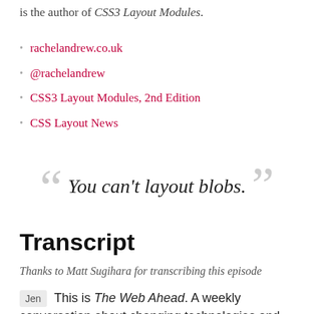is the author of CSS3 Layout Modules.
rachelandrew.co.uk
@rachelandrew
CSS3 Layout Modules, 2nd Edition
CSS Layout News
“You can’t layout blobs.”
Transcript
Thanks to Matt Sugihara for transcribing this episode
Jen  This is The Web Ahead. A weekly conversation about changing technologies and the future of the web. I’m your host, Jen Simmons, and this is episode